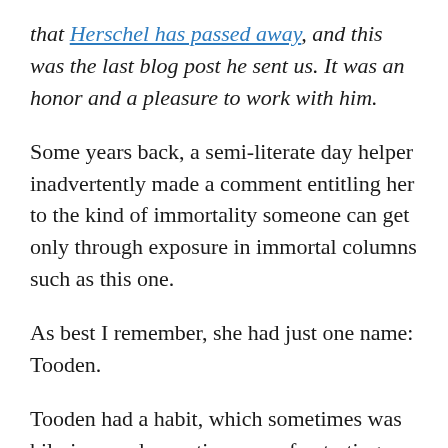that Herschel has passed away, and this was the last blog post he sent us. It was an honor and a pleasure to work with him.
Some years back, a semi-literate day helper inadvertently made a comment entitling her to the kind of immortality someone can get only through exposure in immortal columns such as this one.
As best I remember, she had just one name: Tooden.
Tooden had a habit, which sometimes was hilarious and sometimes was frustrating. She would pick up a word and use it, whether her